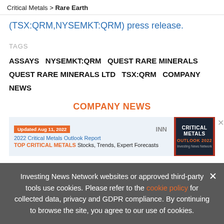Critical Metals > Rare Earth
(TSX:QRM,NYSEMKT:QRM) press release.
TAGS
ASSAYS  NYSEMKT:QRM  QUEST RARE MINERALS  QUEST RARE MINERALS LTD  TSX:QRM  COMPANY NEWS
COMPANY NEWS
[Figure (screenshot): Advertisement banner for 2022 Critical Metals Outlook Report by INN. Shows orange 'Updated Aug 11, 2022' badge, INN logo, title '2022 Critical Metals Outlook Report', subtitle 'TOP CRITICAL METALS Stocks, Trends, Expert Forecasts', and a book cover image with dark background and orange text 'CRITICAL METALS OUTLOOK 2022'.]
Investing News Network websites or approved third-party tools use cookies. Please refer to the cookie policy for collected data, privacy and GDPR compliance. By continuing to browse the site, you agree to our use of cookies.